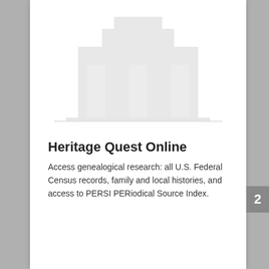[Figure (illustration): Faded/watermark illustration of a building or database resource, shown in very light gray at the top of the page]
Heritage Quest Online
Access genealogical research: all U.S. Federal Census records, family and local histories, and access to PERSI PERiodical Source Index.